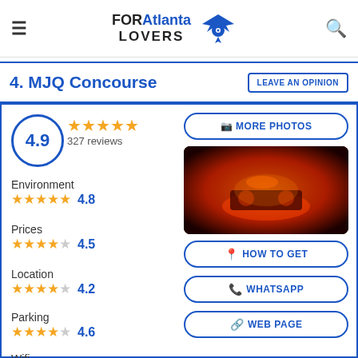FOR Atlanta LOVERS
4. MJQ Concourse
LEAVE AN OPINION
4.9 — 327 reviews
MORE PHOTOS
[Figure (photo): Dark reddish-orange lit venue interior showing DJ equipment and crowd]
Environment ★★★★★ 4.8
Prices ★★★★½ 4.5
Location ★★★★☆ 4.2
Parking ★★★★½ 4.6
Wifi ★★★★★ 4.9
HOW TO GET
WHATSAPP
WEB PAGE